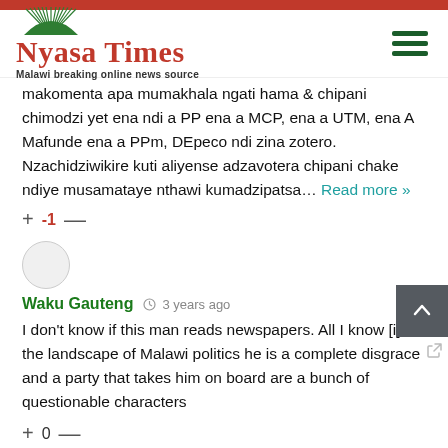[Figure (logo): Nyasa Times logo with green arc/dome graphic above red serif text 'Nyasa Times' and tagline 'Malawi breaking online news source']
makomenta apa mumakhala ngati hama & chipani chimodzi yet ena ndi a PP ena a MCP, ena a UTM, ena A Mafunde ena a PPm, DEpeco ndi zina zotero. Nzachidziwikire kuti aliyense adzavotera chipani chake ndiye musamataye nthawi kumadzipatsa… Read more »
+ -1 —
Waku Gauteng   3 years ago
I don't know if this man reads newspapers. All I know [is] the landscape of Malawi politics he is a complete disgrace and a party that takes him on board are a bunch of questionable characters
+ 0 —